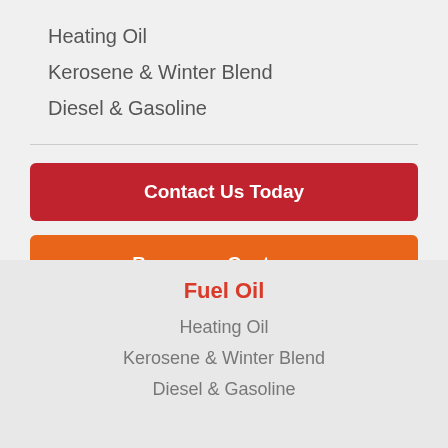Heating Oil
Kerosene & Winter Blend
Diesel & Gasoline
Contact Us Today
Become a Customer
The Bottini Difference
Fuel Oil
Heating Oil
Kerosene & Winter Blend
Diesel & Gasoline